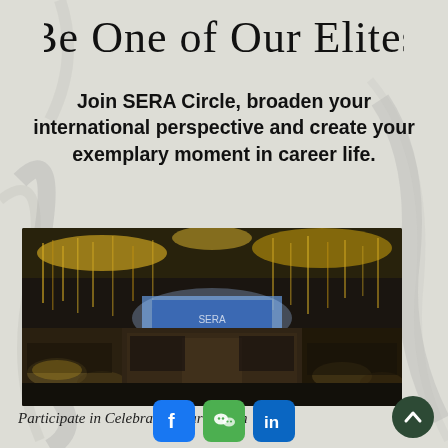Be One of Our Elites
Join SERA Circle, broaden your international perspective and create your exemplary moment in career life.
[Figure (photo): A large gala dinner or celebration event in a grand ballroom with elaborate chandelier decorations, attendees seated at round tables, and a lit stage at the far end.]
Participate in Celebration Party/Dinn
Social media icons: Facebook, WeChat, LinkedIn